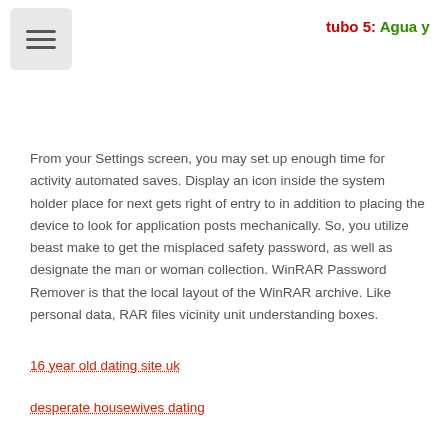tubo 5: Agua y ...
From your Settings screen, you may set up enough time for activity automated saves. Display an icon inside the system holder place for next gets right of entry to in addition to placing the device to look for application posts mechanically. So, you utilize beast make to get the misplaced safety password, as well as designate the man or woman collection. WinRAR Password Remover is that the local layout of the WinRAR archive. Like personal data, RAR files vicinity unit understanding boxes.
16 year old dating site uk
desperate housewives dating